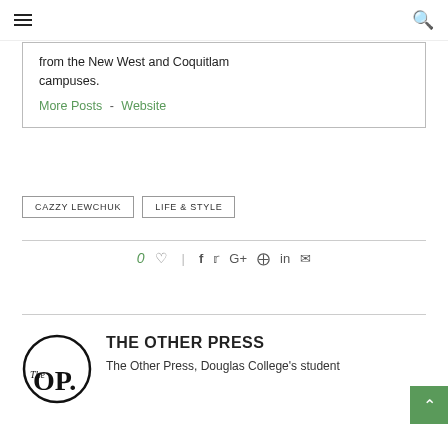Navigation bar with hamburger menu and search icon
from the New West and Coquitlam campuses.
More Posts - Website
CAZZY LEWCHUK
LIFE & STYLE
0 ♡  |  f  t  G+  ⊕  in  ✉
THE OTHER PRESS
The Other Press, Douglas College's student